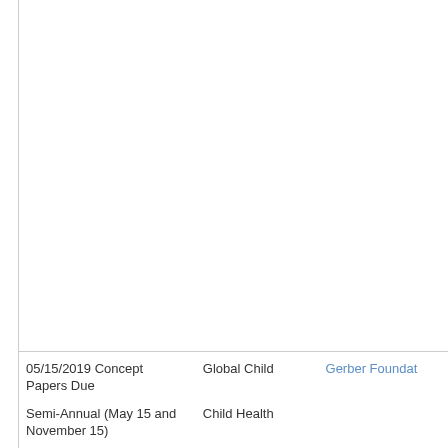| 05/15/2019 Concept Papers Due
Semi-Annual (May 15 and November 15) | Global Child
Child Health | Gerber Foundation |